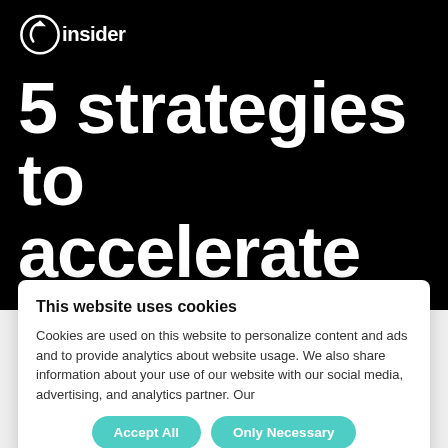[Figure (logo): Insider logo: circle with arrow and 'insider' text in white on black background]
5 strategies to accelerate
This website uses cookies
Cookies are used on this website to personalize content and ads and to provide analytics about website usage. We also share information about your use of our website with our social media, advertising, and analytics partner. Our
Accept All
Only Necessary